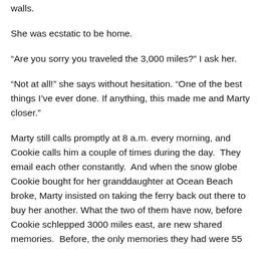walls.
She was ecstatic to be home.
“Are you sorry you traveled the 3,000 miles?” I ask her.
“Not at all!” she says without hesitation. “One of the best things I’ve ever done. If anything, this made me and Marty closer.”
Marty still calls promptly at 8 a.m. every morning, and Cookie calls him a couple of times during the day.  They email each other constantly.  And when the snow globe Cookie bought for her granddaughter at Ocean Beach broke, Marty insisted on taking the ferry back out there to buy her another. What the two of them have now, before Cookie schlepped 3000 miles east, are new shared memories.  Before, the only memories they had were 55